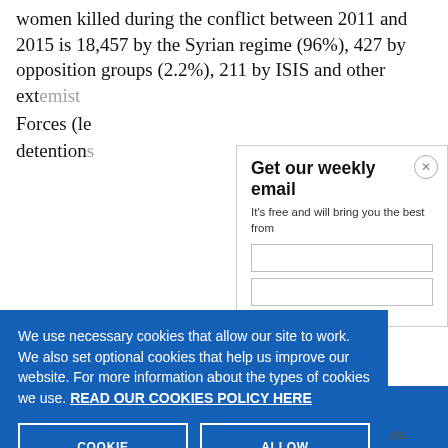women killed during the conflict between 2011 and 2015 is 18,457 by the Syrian regime (96%), 427 by opposition groups (2.2%), 211 by ISIS and other ext... Forces (le... detention...
Get our weekly email
It's free and will bring you the best from
We use necessary cookies that allow our site to work. We also set optional cookies that help us improve our website. For more information about the types of cookies we use. READ OUR COOKIES POLICY HERE
COOKIE SETTINGS
ALLOW ALL COOKIES
data.
made by